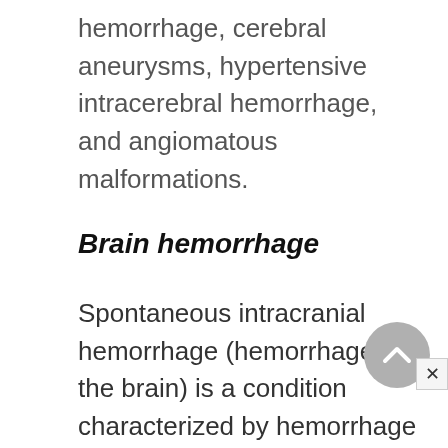hemorrhage, cerebral aneurysms, hypertensive intracerebral hemorrhage, and angiomatous malformations.
Brain hemorrhage
Spontaneous intracranial hemorrhage (hemorrhage in the brain) is a condition characterized by hemorrhage in the brain (hemorrhagic stroke) that results in a sudden onset